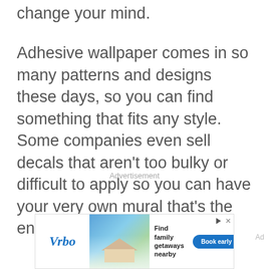change your mind.
Adhesive wallpaper comes in so many patterns and designs these days, so you can find something that fits any style. Some companies even sell decals that aren't too bulky or difficult to apply so you can have your very own mural that's the envy of everyone on the floor.
Advertisement
Ad
[Figure (other): Vrbo advertisement banner showing a beach house with text 'Find family getaways nearby' and a blue 'Book early' button]